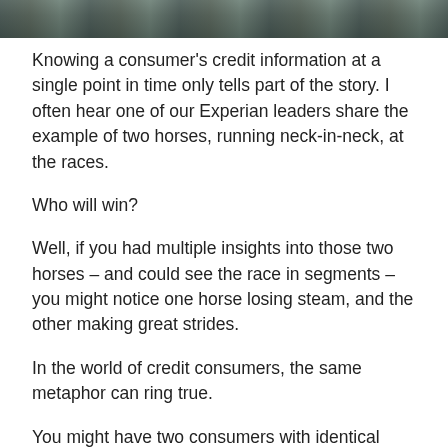[Figure (photo): Photo strip showing horses racing neck-in-neck, partially visible at top of page]
Knowing a consumer's credit information at a single point in time only tells part of the story. I often hear one of our Experian leaders share the example of two horses, running neck-in-neck, at the races.
Who will win?
Well, if you had multiple insights into those two horses – and could see the race in segments – you might notice one horse losing steam, and the other making great strides.
In the world of credit consumers, the same metaphor can ring true.
You might have two consumers with identical credit scores, but Consumer A has been making minimum payments for months and showing some payment stress, while Consumer B has been aggressively making larger pa… Trended data adds that color to the story, and suddenly